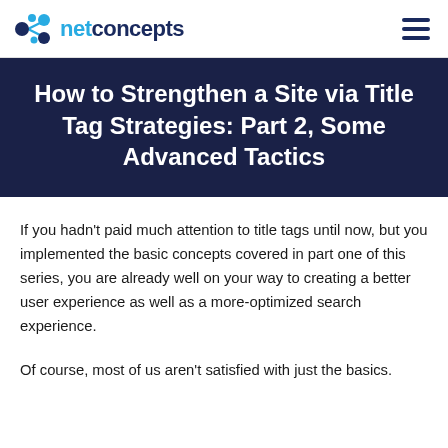netconcepts
How to Strengthen a Site via Title Tag Strategies: Part 2, Some Advanced Tactics
If you hadn’t paid much attention to title tags until now, but you implemented the basic concepts covered in part one of this series, you are already well on your way to creating a better user experience as well as a more-optimized search experience.
Of course, most of us aren’t satisfied with just the basics.